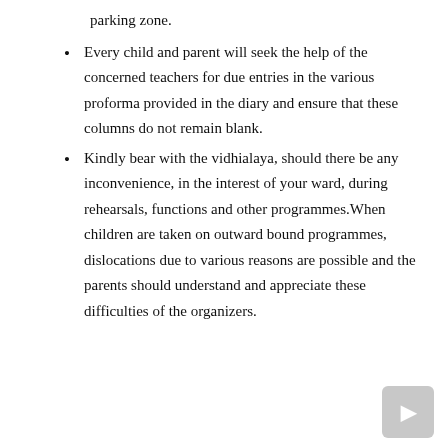parking zone.
Every child and parent will seek the help of the concerned teachers for due entries in the various proforma provided in the diary and ensure that these columns do not remain blank.
Kindly bear with the vidhialaya, should there be any inconvenience, in the interest of your ward, during rehearsals, functions and other programmes.When children are taken on outward bound programmes, dislocations due to various reasons are possible and the parents should understand and appreciate these difficulties of the organizers.